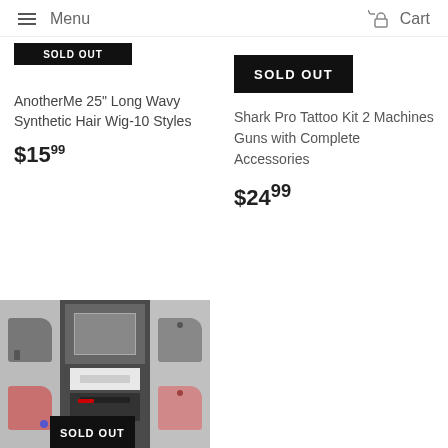Menu | Cart
[Figure (screenshot): Partial product image top-left with sold out bar]
[Figure (screenshot): SOLD OUT badge for right product]
AnotherMe 25" Long Wavy Synthetic Hair Wig-10 Styles
$15.99
Shark Pro Tattoo Kit 2 Machines Guns with Complete Accessories
$24.99
[Figure (photo): Tattoo kit product image with multiple machine guns and SOLD OUT overlay badge]